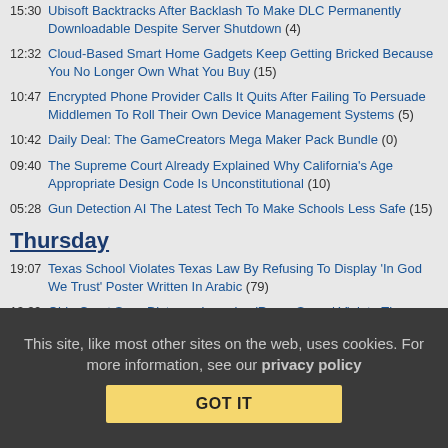15:30 Ubisoft Backtracks After Backlash To Make DLC Permanently Downloadable Despite Server Shutdown (4)
12:32 Cloud-Based Smart Home Gadgets Keep Getting Bricked Because You No Longer Own What You Buy (15)
10:47 Encrypted Phone Provider Calls It Quits After Failing To Persuade Middlemen To Roll Their Own Device Management Systems (5)
10:42 Daily Deal: The GameCreators Mega Maker Pack Bundle (0)
09:40 The Supreme Court Already Explained Why California's Age Appropriate Design Code Is Unconstitutional (10)
05:28 Gun Detection AI The Latest Tech To Make Schools Less Safe (15)
Thursday
19:07 Texas School Violates Texas Law By Refusing To Display 'In God We Trust' Poster Written In Arabic (79)
13:39 Ohio Court Says Distance Learning 'Room Scans' Violate The Fourth Amendment (17)
This site, like most other sites on the web, uses cookies. For more information, see our privacy policy
GOT IT